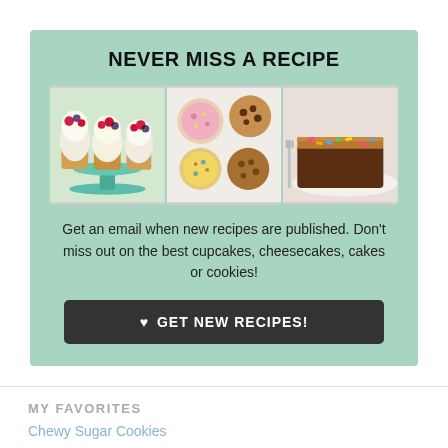NEVER MISS A RECIPE
[Figure (photo): Three food photos side by side: cupcakes with berries, assorted decorated cookies, and a slice of chocolate cake with sprinkles]
Get an email when new recipes are published. Don't miss out on the best cupcakes, cheesecakes, cakes or cookies!
♥ GET NEW RECIPES!
MY FAVORITES
Chewy Sugar Cookies